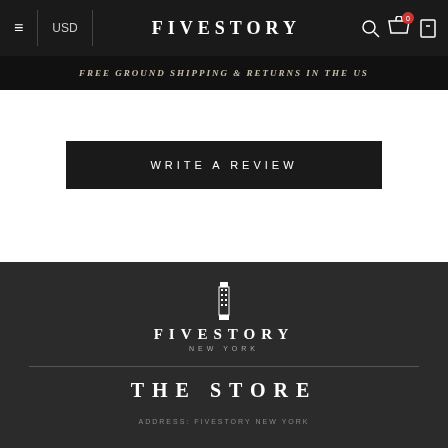≡ USD | FIVESTORY
FREE GROUND SHIPPING & RETURNS IN THE US
WRITE A REVIEW
[Figure (logo): Fivestory New York logo with building tower icon, text FIVESTORY NEW YORK]
THE STORE
ADDRESS: FIVESTORY NEW YORK